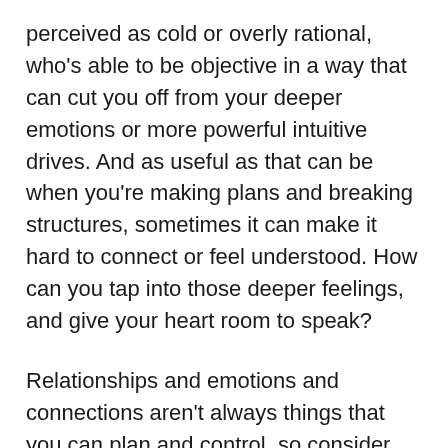perceived as cold or overly rational, who's able to be objective in a way that can cut you off from your deeper emotions or more powerful intuitive drives. And as useful as that can be when you're making plans and breaking structures, sometimes it can make it hard to connect or feel understood. How can you tap into those deeper feelings, and give your heart room to speak?
Relationships and emotions and connections aren't always things that you can plan and control, so consider how you can give yourself some leeway, a chance to be artistic and expressive and creative. What fils you with joy and contentment, helps you feel like you're tapping into your deepest purpose? How often do you let yourself be a beginner, and what can you learn about yourself and your own passion during your own growth?